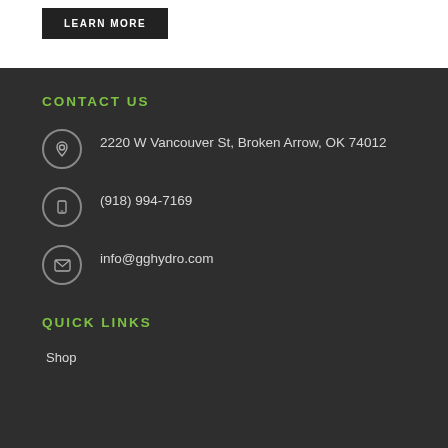LEARN MORE
CONTACT US
2220 W Vancouver St, Broken Arrow, OK 74012
(918) 994-7169
info@gghydro.com
QUICK LINKS
Shop